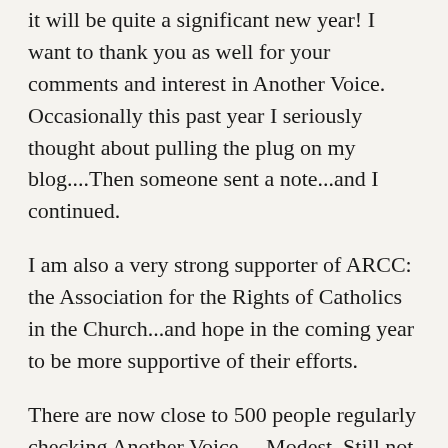it will be quite a significant new year! I want to thank you as well for your comments and interest in Another Voice. Occasionally this past year I seriously thought about pulling the plug on my blog....Then someone sent a note...and I continued.
I am also a very strong supporter of ARCC: the Association for the Rights of Catholics in the Church...and hope in the coming year to be more supportive of their efforts.
There are now close to 500 people regularly checking Another Voice.....Modest. Still not bad. I have never been a numbers guy.